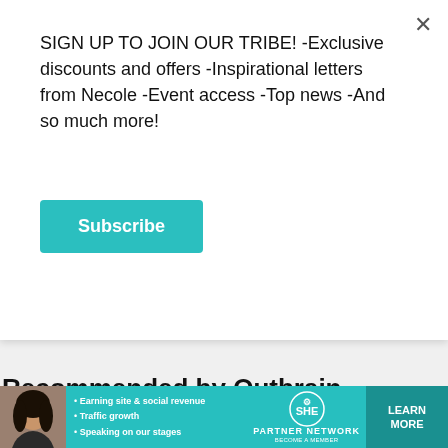SIGN UP TO JOIN OUR TRIBE! -Exclusive discounts and offers -Inspirational letters from Necole -Event access -Top news -And so much more!
Subscribe
xoNecole need to go to editor@xonecole. Hit her up for *strictly* Shellie-related stuff. Again, pitch article ideas to the site addy NOT HER. Much appreciated.
Recommended by Outbrain
[Figure (photo): A meeting room scene with multiple people sitting around a table in a professional setting, viewed through glass walls]
[Figure (infographic): SHE Partner Network advertisement banner with bullet points: Earning site & social revenue, Traffic growth, Speaking on our stages. Features a LEARN MORE button and SHE logo.]